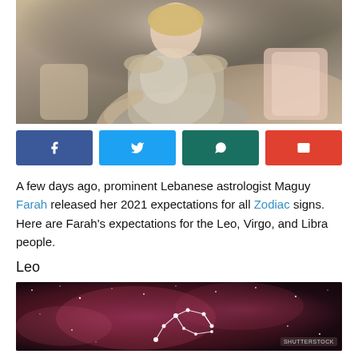[Figure (photo): Lebanese astrologist Maguy Farah sitting on a sofa wearing a silver/gold outfit, smiling, with floral cushions in the background]
[Figure (infographic): Four social media share buttons: Facebook (dark blue), Twitter (light blue), WhatsApp (dark teal), Email (red), each with their respective icons]
A few days ago, prominent Lebanese astrologist Maguy Farah released her 2021 expectations for all Zodiac signs. Here are Farah's expectations for the Leo, Virgo, and Libra people.
Leo
[Figure (photo): Leo zodiac constellation shown as connected white dots/stars against a deep purple/magenta nebula background]